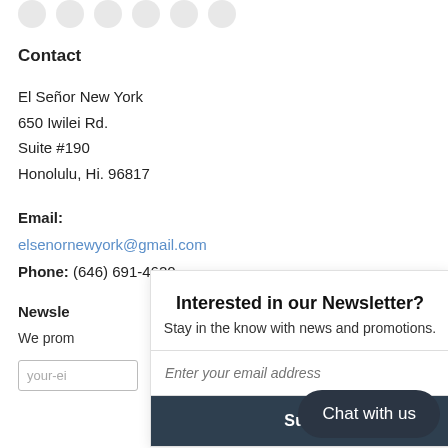Contact
El Señor New York
650 Iwilei Rd.
Suite #190
Honolulu, Hi. 96817
Email: elsenornewyork@gmail.com
Phone: (646) 691-4620
Newsle
We prom
Interested in our Newsletter?
Stay in the know with news and promotions.
Enter your email address
Sub
Chat with us